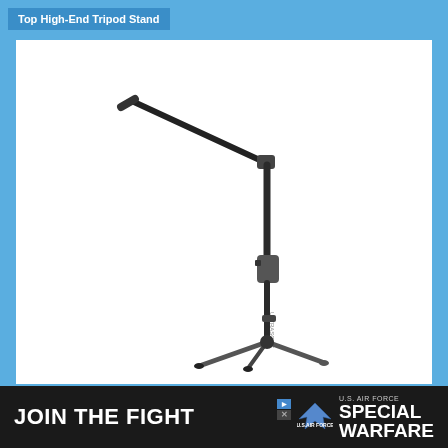Top High-End Tripod Stand
[Figure (photo): A high-end tripod microphone stand with a boom arm, shown against a white background. The stand has a long vertical pole, a boom arm extending diagonally upward to the left with a microphone clip at the end, an adjustable height mechanism in the middle, and three-legged tripod base at the bottom.]
JOIN THE FIGHT
SPECIAL WARFARE